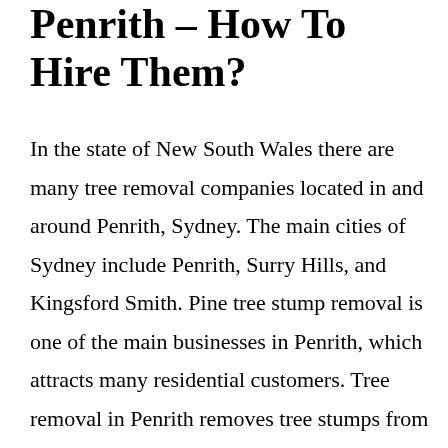Penrith – How To Hire Them?
In the state of New South Wales there are many tree removal companies located in and around Penrith, Sydney. The main cities of Sydney include Penrith, Surry Hills, and Kingsford Smith. Pine tree stump removal is one of the main businesses in Penrith, which attracts many residential customers. Tree removal in Penrith removes tree stumps from the streets, properties, and other areas. Most of the customers are residential customers who have branches that are broken or damaged. It is the